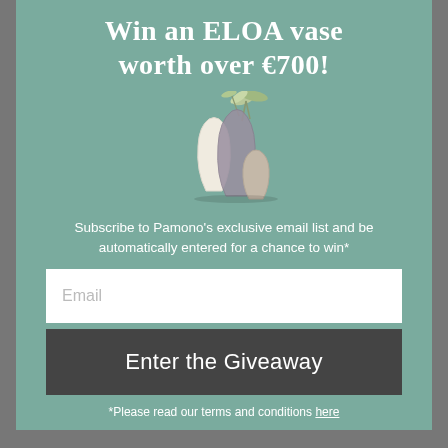Win an ELOA vase worth over €700!
[Figure (illustration): Three ELOA glass vases grouped together — a tall frosted white vase, a medium smoked grey vase with green plant stems, and a smaller taupe/beige vase]
Subscribe to Pamono's exclusive email list and be automatically entered for a chance to win*
*Please read our terms and conditions here